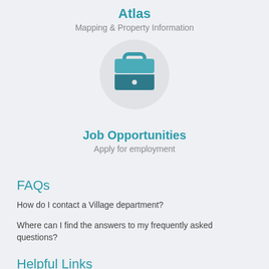Atlas
Mapping & Property Information
[Figure (illustration): A circular icon with a map pin shape containing a briefcase/suitcase icon in teal/dark teal gradient colors on a light gray circle background]
Job Opportunities
Apply for employment
FAQs
How do I contact a Village department?
Where can I find the answers to my frequently asked questions?
Helpful Links